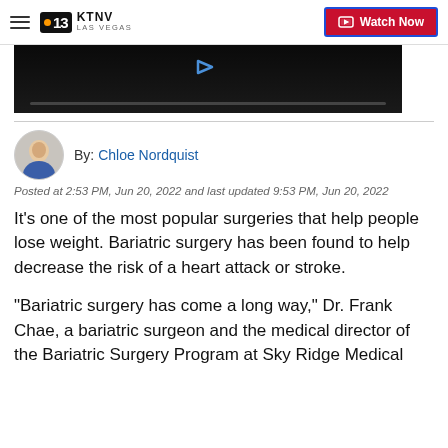KTNV LAS VEGAS — Watch Now
[Figure (screenshot): Black video thumbnail with a blue play arrow and a progress bar at the bottom]
By: Chloe Nordquist
Posted at 2:53 PM, Jun 20, 2022 and last updated 9:53 PM, Jun 20, 2022
It’s one of the most popular surgeries that help people lose weight. Bariatric surgery has been found to help decrease the risk of a heart attack or stroke.
“Bariatric surgery has come a long way,” Dr. Frank Chae, a bariatric surgeon and the medical director of the Bariatric Surgery Program at Sky Ridge Medical